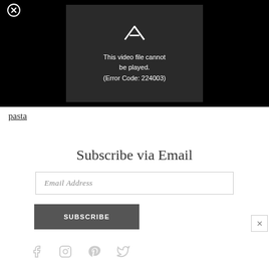[Figure (screenshot): Black video player area with an error message box in the center. The box shows a broken video/play icon and the text: 'This video file cannot be played. (Error Code: 224003)'. A close button (circled X) appears in the top left of the black area.]
pasta
Subscribe via Email
Email Address
SUBSCRIBE
[Figure (illustration): Social media icons row: Facebook, Instagram, Pinterest, Twitter (in light gray)]